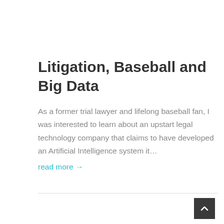Litigation, Baseball and Big Data
As a former trial lawyer and lifelong baseball fan, I was interested to learn about an upstart legal technology company that claims to have developed an Artificial Intelligence system it…
read more →